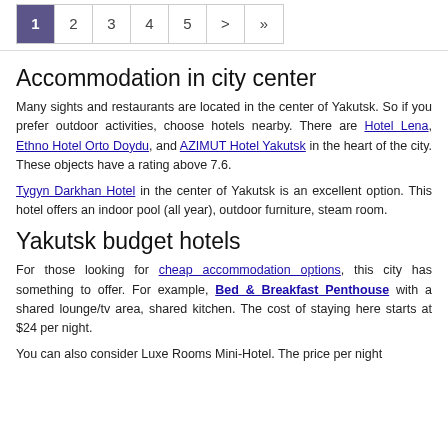1 2 3 4 5 > »
Accommodation in city center
Many sights and restaurants are located in the center of Yakutsk. So if you prefer outdoor activities, choose hotels nearby. There are Hotel Lena, Ethno Hotel Orto Doydu, and AZIMUT Hotel Yakutsk in the heart of the city. These objects have a rating above 7.6.
Tygyn Darkhan Hotel in the center of Yakutsk is an excellent option. This hotel offers an indoor pool (all year), outdoor furniture, steam room.
Yakutsk budget hotels
For those looking for cheap accommodation options, this city has something to offer. For example, Bed & Breakfast Penthouse with a shared lounge/tv area, shared kitchen. The cost of staying here starts at $24 per night.
You can also consider Luxe Rooms Mini-Hotel. The price per night